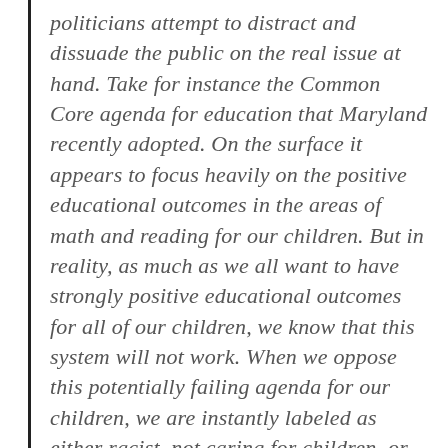politicians attempt to distract and dissuade the public on the real issue at hand. Take for instance the Common Core agenda for education that Maryland recently adopted. On the surface it appears to focus heavily on the positive educational outcomes in the areas of math and reading for our children. But in reality, as much as we all want to have strongly positive educational outcomes for all of our children, we know that this system will not work. When we oppose this potentially failing agenda for our children, we are instantly labeled as either racist, not caring for children, or